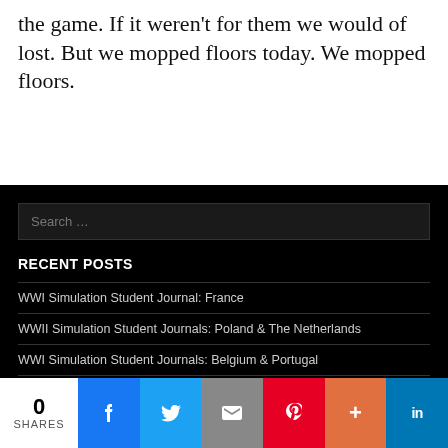the game. If it weren't for them we would of lost. But we mopped floors today. We mopped floors.
RECENT POSTS
WWI Simulation Student Journal: France
WWII Simulation Student Journals: Poland & The Netherlands
WWI Simulation Student Journals: Belgium & Portugal
WWII Simulation Student Journal: Rumania, Hungary and Bulgaria
0 SHARES | Facebook | Twitter | Email | Pinterest | More | LinkedIn